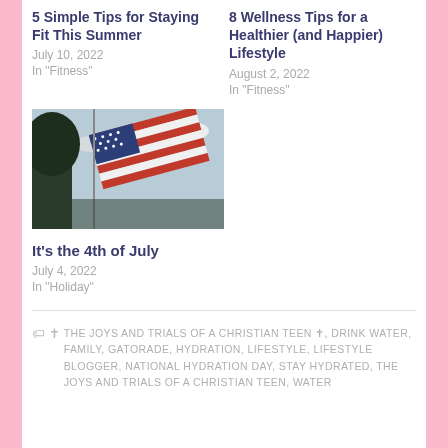5 Simple Tips for Staying Fit This Summer
July 10, 2022
In "Fitness"
8 Wellness Tips for a Healthier (and Happier) Lifestyle
August 2, 2022
In "Fitness"
[Figure (photo): American flag waving against a sky with sun and trees]
It's the 4th of July
July 4, 2022
In "Holiday"
🏷 ✝ THE JOYS AND TRIALS OF A CHRISTIAN TEEN ✝, DRINK WATER, FAMILY, GATORADE, HYDRATION, LIFESTYLE, LIFESTYLE BLOGGER, NATIONAL HYDRATION DAY, STAY HYDRATED, THE JOYS AND TRIALS OF A CHRISTIAN TEEN, WATER